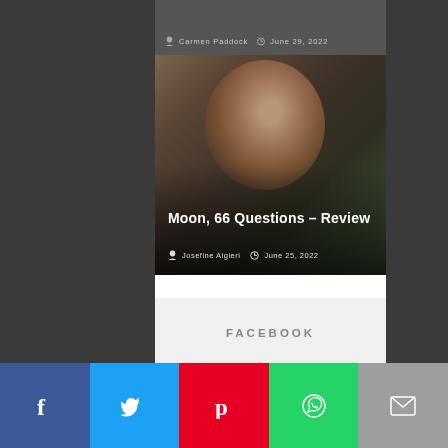[Figure (photo): Partial article card at top showing author Carmen Paddock and date June 29, 2022, cropped at top]
[Figure (photo): Photo of a young woman with auburn hair looking down, overlaid with article title and metadata]
Moon, 66 Questions – Review
Josefine Algieri   June 25, 2022
FACEBOOK
[Figure (infographic): Social share bar with five buttons: Facebook (blue), Twitter (light blue), Pinterest (red), WhatsApp (green), Email (grey)]